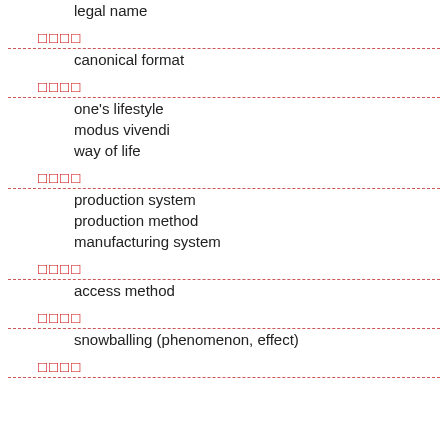legal name
□□□□ / canonical format
□□□□ / one's lifestyle, modus vivendi, way of life
□□□□ / production system, production method, manufacturing system
□□□□ / access method
□□□□ / snowballing (phenomenon, effect)
□□□□